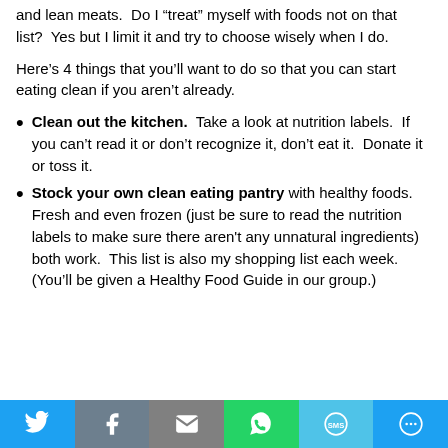and lean meats.  Do I “treat” myself with foods not on that list?  Yes but I limit it and try to choose wisely when I do.
Here’s 4 things that you’ll want to do so that you can start eating clean if you aren’t already.
Clean out the kitchen.  Take a look at nutrition labels.  If you can’t read it or don’t recognize it, don’t eat it.  Donate it or toss it.
Stock your own clean eating pantry with healthy foods.  Fresh and even frozen (just be sure to read the nutrition labels to make sure there aren't any unnatural ingredients) both work.  This list is also my shopping list each week. (You’ll be given a Healthy Food Guide in our group.)
[Figure (infographic): Social media sharing bar with Twitter, Facebook, Email, WhatsApp, SMS, and More buttons]